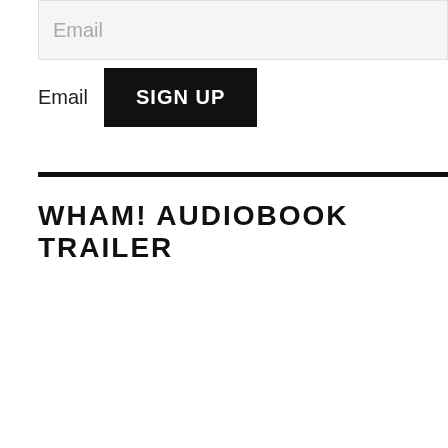Email
Email SIGN UP
WHAM! AUDIOBOOK TRAILER